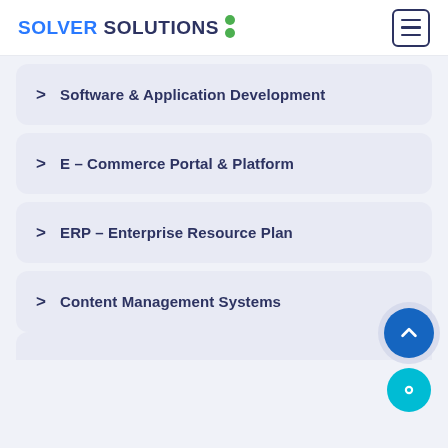SOLVER SOLUTIONS
> Software & Application Development
> E – Commerce Portal & Platform
> ERP – Enterprise Resource Plan
> Content Management Systems